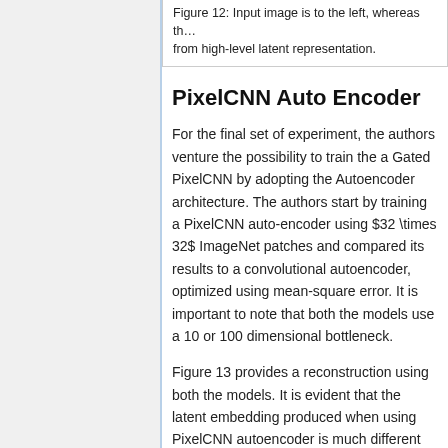Figure 12: Input image is to the left, whereas the from high-level latent representation.
PixelCNN Auto Encoder
For the final set of experiment, the authors venture the possibility to train the a Gated PixelCNN by adopting the Autoencoder architecture. The authors start by training a PixelCNN auto-encoder using $32 \times 32$ ImageNet patches and compared its results to a convolutional autoencoder, optimized using mean-square error. It is important to note that both the models use a 10 or 100 dimensional bottleneck.
Figure 13 provides a reconstruction using both the models. It is evident that the latent embedding produced when using PixelCNN autoencoder is much different when compared to convolutional